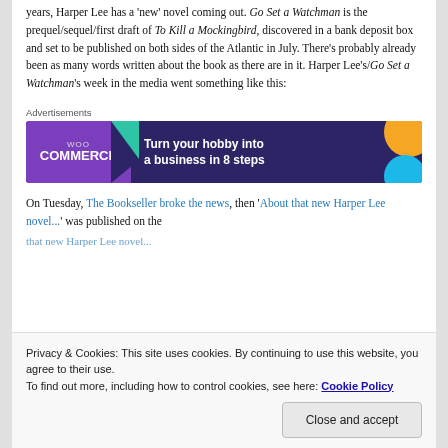years, Harper Lee has a 'new' novel coming out. Go Set a Watchman is the prequel/sequel/first draft of To Kill a Mockingbird, discovered in a bank deposit box and set to be published on both sides of the Atlantic in July. There's probably already been as many words written about the book as there are in it. Harper Lee's/Go Set a Watchman's week in the media went something like this:
Advertisements
[Figure (other): WooCommerce advertisement banner: dark purple background with WooCommerce logo on left, geometric shapes (green triangle, orange circle, blue circle), text 'Turn your hobby into a business in 8 steps']
On Tuesday, The Bookseller broke the news, then 'About that new Harper Lee novel...' was published on the
Privacy & Cookies: This site uses cookies. By continuing to use this website, you agree to their use.
To find out more, including how to control cookies, see here: Cookie Policy